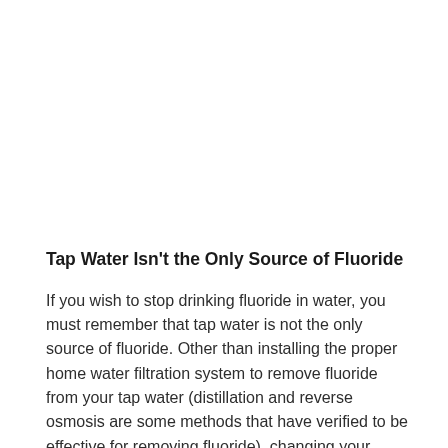Tap Water Isn't the Only Source of Fluoride
If you wish to stop drinking fluoride in water, you must remember that tap water is not the only source of fluoride. Other than installing the proper home water filtration system to remove fluoride from your tap water (distillation and reverse osmosis are some methods that have verified to be effective for removing fluoride), changing your fluoridated